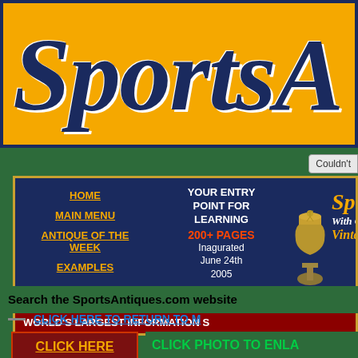[Figure (logo): SportsAntiques website header banner with orange background and dark blue gothic/old English style text reading 'SportsA...' (cropped)]
Couldn't
[Figure (infographic): Navigation box with dark navy background and gold border containing links: HOME, MAIN MENU, ANTIQUE OF THE WEEK, EXAMPLES on the left; center text: YOUR ENTRY POINT FOR LEARNING 200+ PAGES Inagurated June 24th 2005; trophy figurine image; right side: SportsA... With Carlton... Vintage A... in orange gothic text; bottom bar: WORLD'S LARGEST INFORMATION S...]
Search the SportsAntiques.com website
CLICK HERE TO RETURN TO M...
CLICK HERE
CLICK PHOTO TO ENLA...